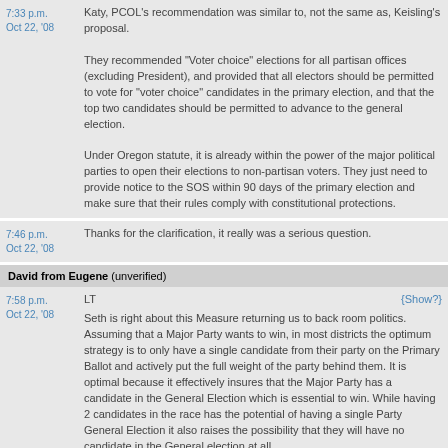7:33 p.m. Oct 22, '08
Katy, PCOL's recommendation was similar to, not the same as, Keisling's proposal.

They recommended "Voter choice" elections for all partisan offices (excluding President), and provided that all electors should be permitted to vote for "voter choice" candidates in the primary election, and that the top two candidates should be permitted to advance to the general election.

Under Oregon statute, it is already within the power of the major political parties to open their elections to non-partisan voters. They just need to provide notice to the SOS within 90 days of the primary election and make sure that their rules comply with constitutional protections.
7:46 p.m. Oct 22, '08
Thanks for the clarification, it really was a serious question.
David from Eugene (unverified)
7:58 p.m. Oct 22, '08
LT

Seth is right about this Measure returning us to back room politics. Assuming that a Major Party wants to win, in most districts the optimum strategy is to only have a single candidate from their party on the Primary Ballot and actively put the full weight of the party behind them. It is optimal because it effectively insures that the Major Party has a candidate in the General Election which is essential to win. While having 2 candidates in the race has the potential of having a single Party General Election it also raises the possibility that they will have no candidate in the General election at all.

Given that the optimum strategy is a single candidate and that the